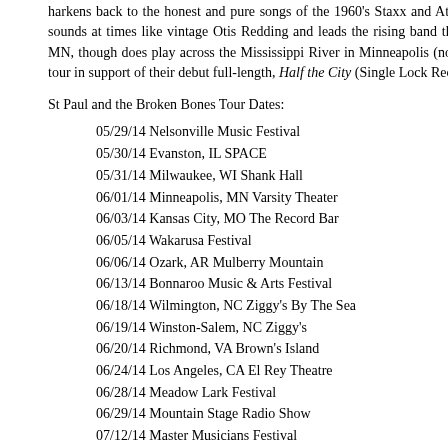harkens back to the honest and pure songs of the 1960's Staxx and Atlantic Records catalogs. Vocalist Paul Janeway sounds at times like vintage Otis Redding and leads the rising band that unfortunately has no connection to St Paul, MN, though does play across the Mississippi River in Minneapolis (now sold out), as one of the stops on its summer tour in support of their debut full-length, Half the City (Single Lock Records).
St Paul and the Broken Bones Tour Dates:
05/29/14 Nelsonville Music Festival
05/30/14 Evanston, IL SPACE
05/31/14 Milwaukee, WI Shank Hall
06/01/14 Minneapolis, MN Varsity Theater
06/03/14 Kansas City, MO The Record Bar
06/05/14 Wakarusa Festival
06/06/14 Ozark, AR Mulberry Mountain
06/13/14 Bonnaroo Music & Arts Festival
06/18/14 Wilmington, NC Ziggy's By The Sea
06/19/14 Winston-Salem, NC Ziggy's
06/20/14 Richmond, VA Brown's Island
06/24/14 Los Angeles, CA El Rey Theatre
06/28/14 Meadow Lark Festival
06/29/14 Mountain Stage Radio Show
07/12/14 Master Musicians Festival
07/18/14 Louisville, KY Headliners Music Hall
07/27/14 Interstellar Rodeo
07/30/14 Mankato, MN Vetter Amphitheater